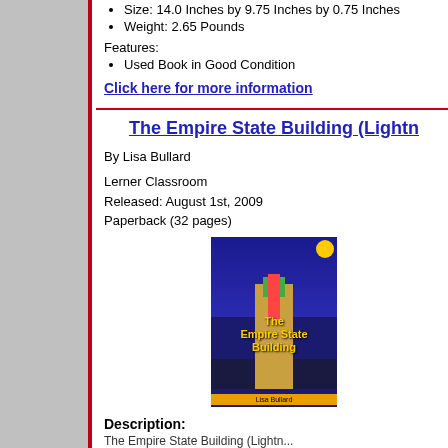Size: 14.0 Inches by 9.75 Inches by 0.75 Inches
Weight: 2.65 Pounds
Features:
Used Book in Good Condition
Click here for more information
The Empire State Building (Lightn...
By Lisa Bullard
Lerner Classroom
Released: August 1st, 2009
Paperback (32 pages)
[Figure (photo): Book cover of The Empire State Building by Lisa Bullard, showing the Empire State Building lit up at night against a dark blue sky, with colorful title text]
Description:
The Empire State Building (Lightn...